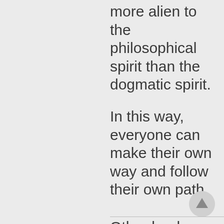more alien to the philosophical spirit than the dogmatic spirit.
In this way, everyone can make their own way and follow their own path.
Other books